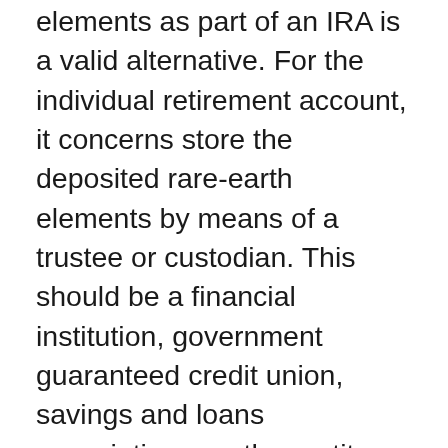elements as part of an IRA is a valid alternative. For the individual retirement account, it concerns store the deposited rare-earth elements by means of a trustee or custodian. This should be a financial institution, government guaranteed credit union, savings and loans association, or other entity authorized by the internal revenue service, according to IRS Publication 590.
Using enough safety attributes is critical in this regard. Choices can consist of, yet are not limited to, timed locks, monitoring, resonance and also activity detectors, and so forth. Every gold IRA commonly has a significant insurance plan, relying on the quantity of precious metal the customers